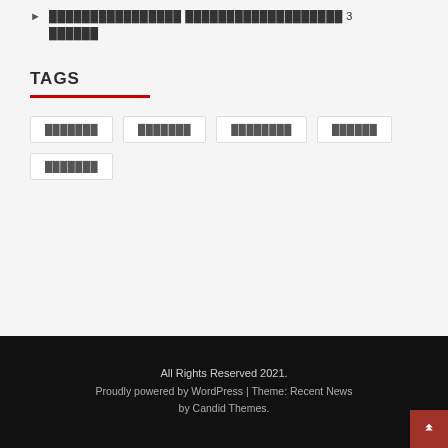████████████████ ███████████████████ 3 ██████
TAGS
███████
███████
████████
██████
███████
All Rights Reserved 2021.
Proudly powered by WordPress | Theme: Recent News by Candid Themes.